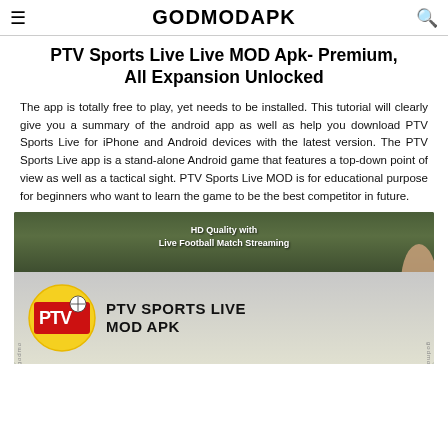GODMODAPK
PTV Sports Live Live MOD Apk- Premium, All Expansion Unlocked
The app is totally free to play, yet needs to be installed. This tutorial will clearly give you a summary of the android app as well as help you download PTV Sports Live for iPhone and Android devices with the latest version. The PTV Sports Live app is a stand-alone Android game that features a top-down point of view as well as a tactical sight. PTV Sports Live MOD is for educational purpose for beginners who want to learn the game to be the best competitor in future.
[Figure (screenshot): PTV Sports Live MOD APK promotional image showing HD Quality with Live Football Match Streaming text at top, and PTV logo with app name at bottom]